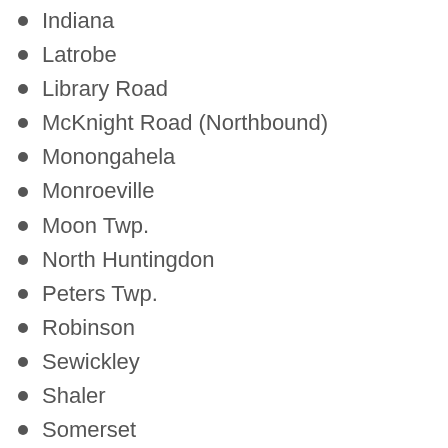Indiana
Latrobe
Library Road
McKnight Road (Northbound)
Monongahela
Monroeville
Moon Twp.
North Huntingdon
Peters Twp.
Robinson
Sewickley
Shaler
Somerset
South Hills Village
St. Clairsville, OH
Uniontown
Warren, OH